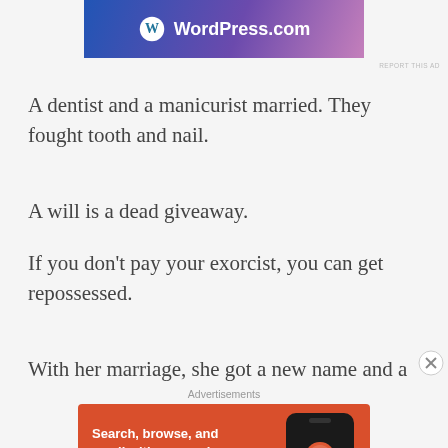[Figure (other): WordPress.com advertisement banner with gradient blue-to-pink background and white WordPress logo and text]
REPORT THIS AD
A dentist and a manicurist married. They fought tooth and nail.
A will is a dead giveaway.
If you don't pay your exorcist, you can get repossessed.
With her marriage, she got a new name and a
Advertisements
[Figure (other): DuckDuckGo advertisement: orange background with text 'Search, browse, and email with more privacy. All in One Free App' and DuckDuckGo logo on phone mockup]